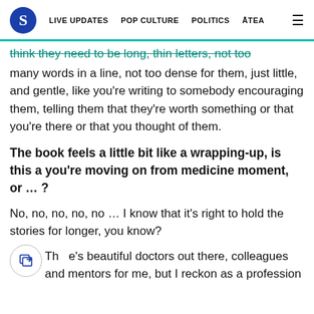S  LIVE UPDATES  POP CULTURE  POLITICS  ĀTEA  ≡
think they need to be long, thin letters, not too many words in a line, not too dense for them, just little, and gentle, like you're writing to somebody encouraging them, telling them that they're worth something or that you're there or that you thought of them.
The book feels a little bit like a wrapping-up, is this a you're moving on from medicine moment, or … ?
No, no, no, no, no … I know that it's right to hold the stories for longer, you know?
There's beautiful doctors out there, colleagues and mentors for me, but I reckon as a profession